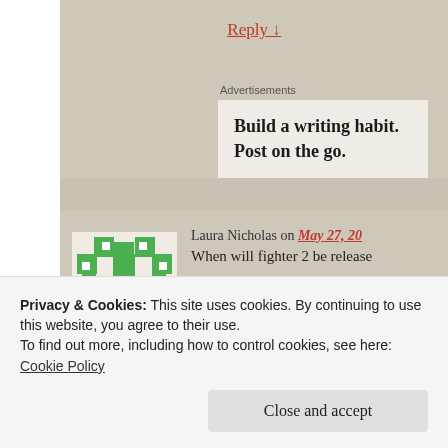Reply ↓
Advertisements
Build a writing habit. Post on the go.
Laura Nicholas on May 27, 20
When will fighter 2 be release
★ Like
Privacy & Cookies: This site uses cookies. By continuing to use this website, you agree to their use.
To find out more, including how to control cookies, see here:
Cookie Policy
Close and accept